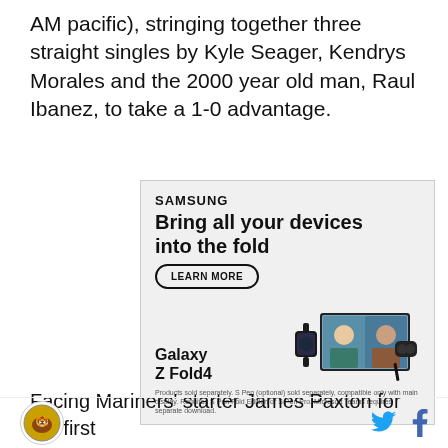AM pacific), stringing together three straight singles by Kyle Seager, Kendrys Morales and the 2000 year old man, Raul Ibanez, to take a 1-0 advantage.
[Figure (other): Samsung Galaxy Z Fold4 advertisement. Headline: 'Bring all your devices into the fold'. Button: 'LEARN MORE'. Shows a Galaxy Z Fold4 phone open with a video call, alongside a smartwatch and earbuds. Subtext: 'Galaxy Z Fold4'. Disclaimer: 'Products sold separately. S Pen (optional) sold separately, compatible only with main display. Requires S Pen Fold Edition or S Pen Pro. Microsoft Teams requires separate download.']
Facing Mariners' starter James Paxton for the first
Logo icon | Twitter icon | Facebook icon